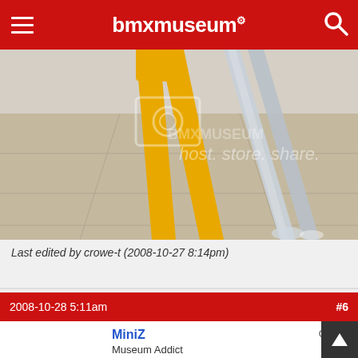bmxmuseum
[Figure (photo): Close-up photo of BMX bicycle forks - one yellow/orange painted fork and one chrome fork leaning against a wall on a tiled floor. A watermark overlay reads 'host. store. share.']
Last edited by crowe-t (2008-10-27 8:14pm)
2008-10-28 5:11am  #6
MiniZ  Offline  Museum Addict  From: SLC, UT  Signed up: 2006-05-20